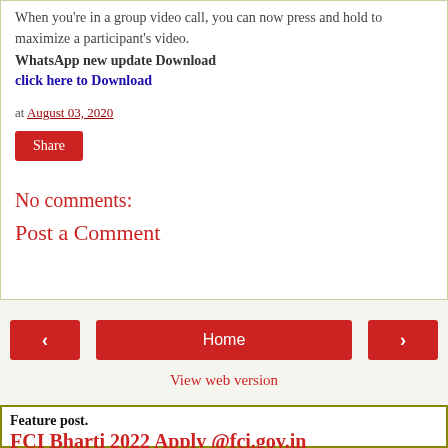When you're in a group video call, you can now press and hold to maximize a participant's video.
WhatsApp new update Download
click here to Download
at August 03, 2020
Share
No comments:
Post a Comment
Home
View web version
Feature post.
FCI Bharti 2022 Apply @fci.gov.in